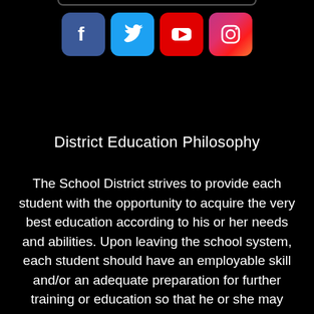[Figure (other): Social media icons row: Facebook (blue), Twitter (light blue), YouTube (red), Instagram (pink/gradient)]
District Education Philosophy
The School District strives to provide each student with the opportunity to acquire the very best education according to his or her needs and abilities. Upon leaving the school system, each student should have an employable skill and/or an adequate preparation for further training or education so that he or she may become a responsible, productive citizen. The